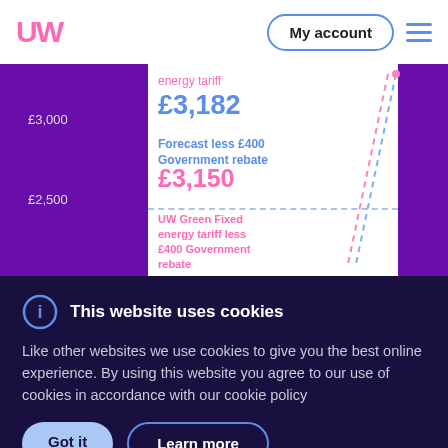UW  My account
[Figure (continuous-plot): Partial energy tariff comparison chart showing y-axis values £3,000 and £2,500, with labels for energy tariff £3,182, Forecast less £400 Government rebate £3,150, and UW Green Fixed energy tariff less £400 Government rebate. Dashed lines in blue/pink diagonal pattern on right side.]
This website uses cookies
Like other websites we use cookies to give you the best online experience. By using this website you agree to our use of cookies in accordance with our cookie policy
Got it
Learn more